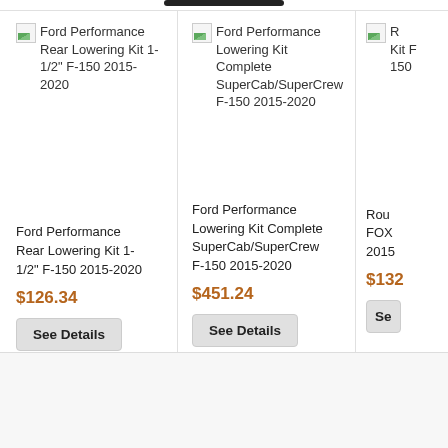[Figure (screenshot): Product listing screenshot showing automotive lowering kits in a grid layout]
Ford Performance Rear Lowering Kit 1-1/2" F-150 2015-2020
Ford Performance Lowering Kit Complete SuperCab/SuperCrew F-150 2015-2020
R... Kit F... 150...
Ford Performance Rear Lowering Kit 1-1/2" F-150 2015-2020
Ford Performance Lowering Kit Complete SuperCab/SuperCrew F-150 2015-2020
Rou... FOX... 2015...
$126.34
$451.24
$132...
See Details
See Details
Se...